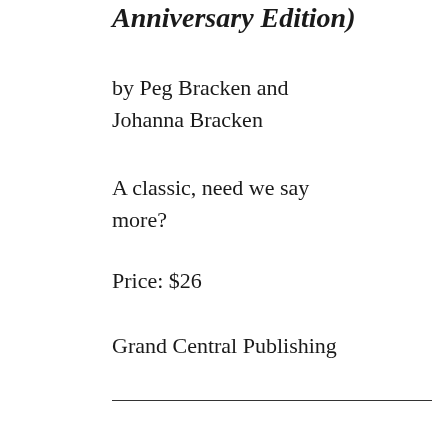Anniversary Edition)
by Peg Bracken and Johanna Bracken
A classic, need we say more?
Price: $26
Grand Central Publishing